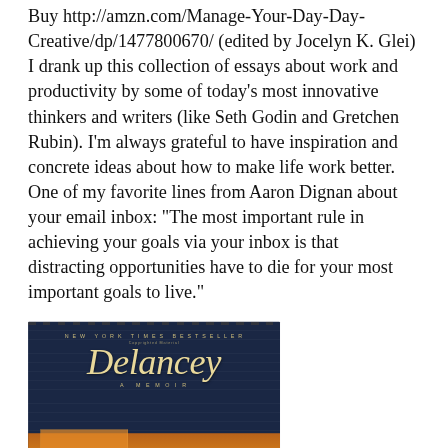Buy http://amzn.com/Manage-Your-Day-Day-Creative/dp/1477800670/ (edited by Jocelyn K. Glei) I drank up this collection of essays about work and productivity by some of today's most innovative thinkers and writers (like Seth Godin and Gretchen Rubin). I'm always grateful to have inspiration and concrete ideas about how to make life work better. One of my favorite lines from Aaron Dignan about your email inbox: "The most important rule in achieving your goals via your inbox is that distracting opportunities have to die for your most important goals to live."
[Figure (photo): Book cover of 'Delancey: A Memoir' by New York Times Bestseller, showing the title in large gold italic script on a dark navy/denim background with an orange-lit restaurant exterior at the bottom]